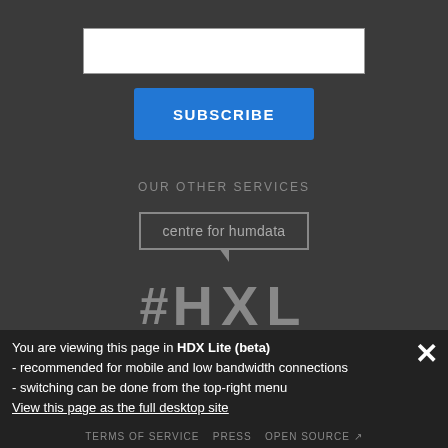[Figure (screenshot): White input text box for subscription]
[Figure (screenshot): Blue SUBSCRIBE button]
OUR OTHER SERVICES
[Figure (logo): Centre for humdata logo with speech bubble outline]
[Figure (logo): #HXL logo in large grey text]
You are viewing this page in HDX Lite (beta)
- recommended for mobile and low bandwidth connections
- switching can be done from the top-right menu
View this page as the full desktop site
TERMS OF SERVICE | PRESS | OPEN SOURCE